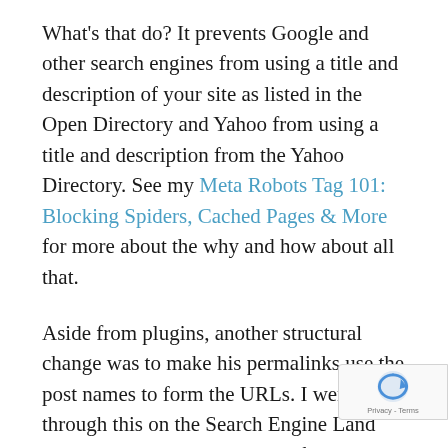What's that do? It prevents Google and other search engines from using a title and description of your site as listed in the Open Directory and Yahoo from using a title and description from the Yahoo Directory. See my Meta Robots Tag 101: Blocking Spiders, Cached Pages & More for more about the why and how about all that.
Aside from plugins, another structural change was to make his permalinks use the post names to form the URLs. I went through this on the Search Engine Land launch. Keywords in the URL field are a small factor, but if people link to use using your URL rather than your page title, then you get some anchor text love for those keywords that might further. Plus, the words in the URL can help reinforce clickthrough. Rather than use one of [cut off]